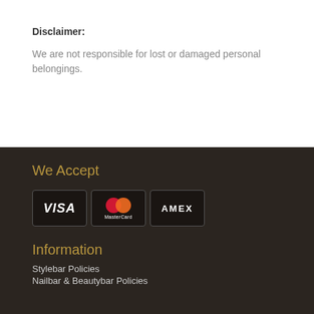Disclaimer:
We are not responsible for lost or damaged personal belongings.
We Accept
[Figure (logo): Three payment method logos side by side: Visa, MasterCard, and AMEX, displayed on dark background with border boxes]
Information
Stylebar Policies
Nailbar & Beautybar Policies